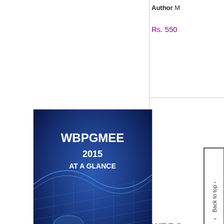Author M...
Rs. 550
[Figure (photo): Book cover: WBPGMEE 2015 AT A GLANCE, blue cover with abstract design, authors listed at bottom]
WBPG...
Author Su...
Rs. 350
This book experts an... explanation...